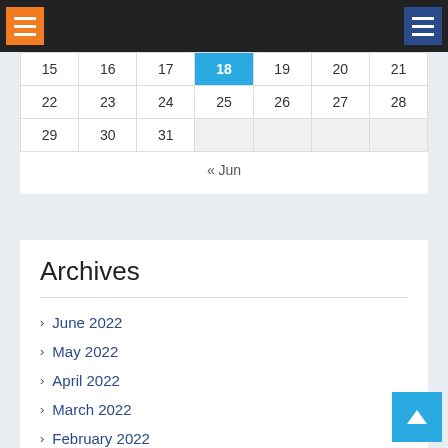Navigation bar with orange hamburger menu (left) and blue hamburger menu (right)
| 15 | 16 | 17 | 18 | 19 | 20 | 21 |
| 22 | 23 | 24 | 25 | 26 | 27 | 28 |
| 29 | 30 | 31 |  |  |  |  |
« Jun
Archives
June 2022
May 2022
April 2022
March 2022
February 2022
December 2021